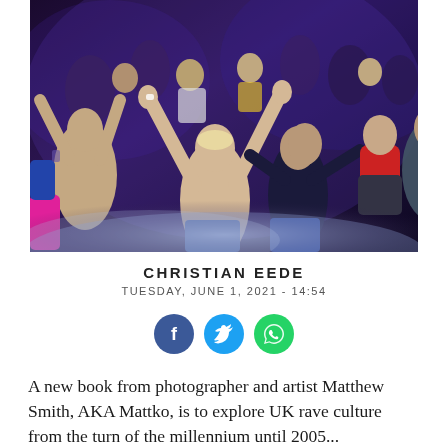[Figure (photo): Crowd of people dancing at a rave, hands raised, in a dark venue with purple lighting and fog/smoke effects. People are shirtless or lightly dressed, energetically dancing.]
CHRISTIAN EEDE
TUESDAY, JUNE 1, 2021 - 14:54
[Figure (other): Social media share icons: Facebook (blue circle with f), Twitter (blue circle with bird), WhatsApp (green circle with phone)]
A new book from photographer and artist Matthew Smith, AKA Mattko, is to explore UK rave culture from the turn of the millennium until 2005...